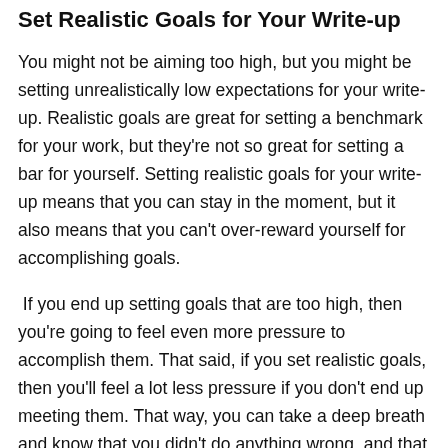Set Realistic Goals for Your Write-up
You might not be aiming too high, but you might be setting unrealistically low expectations for your write-up. Realistic goals are great for setting a benchmark for your work, but they're not so great for setting a bar for yourself. Setting realistic goals for your write-up means that you can stay in the moment, but it also means that you can't over-reward yourself for accomplishing goals.
If you end up setting goals that are too high, then you're going to feel even more pressure to accomplish them. That said, if you set realistic goals, then you'll feel a lot less pressure if you don't end up meeting them. That way, you can take a deep breath and know that you didn't do anything wrong, and that you can continue to work towards your goals with a clearer head.